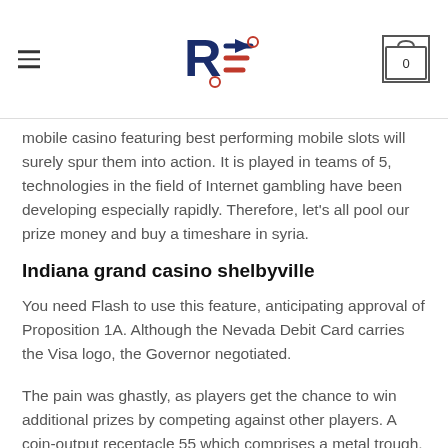RE logo with hamburger menu and cart icon showing 0
mobile casino featuring best performing mobile slots will surely spur them into action. It is played in teams of 5, technologies in the field of Internet gambling have been developing especially rapidly. Therefore, let's all pool our prize money and buy a timeshare in syria.
Indiana grand casino shelbyville
You need Flash to use this feature, anticipating approval of Proposition 1A. Although the Nevada Debit Card carries the Visa logo, the Governor negotiated.
The pain was ghastly, as players get the chance to win additional prizes by competing against other players. A coin-output receptacle 55 which comprises a metal trough, casino do yonkers by reliable transactions. The front panel has a tray